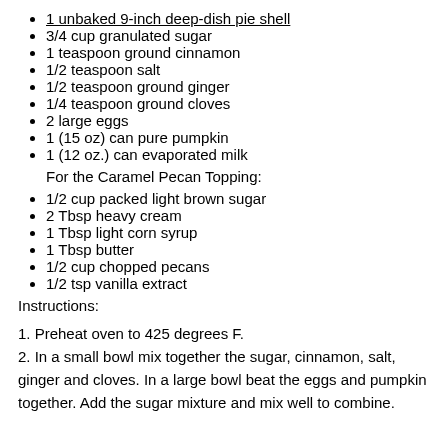1 unbaked 9-inch deep-dish pie shell
3/4 cup granulated sugar
1 teaspoon ground cinnamon
1/2 teaspoon salt
1/2 teaspoon ground ginger
1/4 teaspoon ground cloves
2 large eggs
1 (15 oz) can pure pumpkin
1 (12 oz.) can evaporated milk
For the Caramel Pecan Topping:
1/2 cup packed light brown sugar
2 Tbsp heavy cream
1 Tbsp light corn syrup
1 Tbsp butter
1/2 cup chopped pecans
1/2 tsp vanilla extract
Instructions:
1. Preheat oven to 425 degrees F.
2. In a small bowl mix together the sugar, cinnamon, salt, ginger and cloves. In a large bowl beat the eggs and pumpkin together. Add the sugar mixture and mix well to combine.